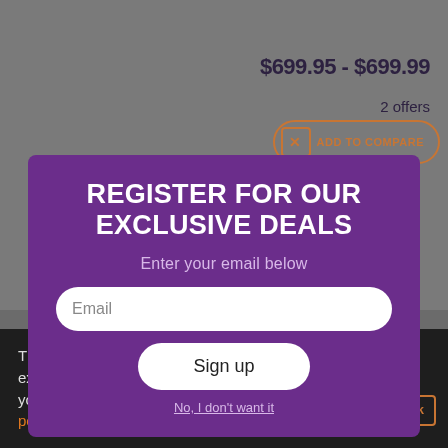$699.95 - $699.99
2 offers
ADD TO COMPARE
[Figure (screenshot): Purple product image area behind modal popup]
REGISTER FOR OUR EXCLUSIVE DEALS
Enter your email below
Email
Sign up
No, I don't want it
This site uses cookies to enhance your web site experience. By continuing to browse or use this site, you are agreeing to our use of cookies. See our privacy policy here.